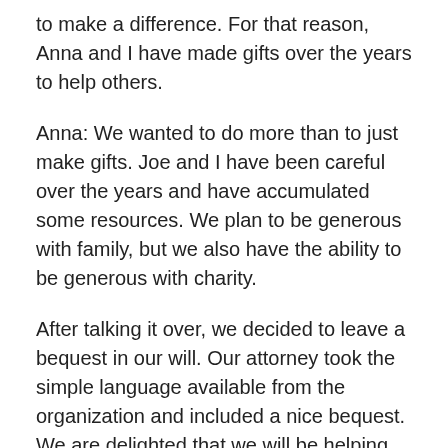to make a difference. For that reason, Anna and I have made gifts over the years to help others.
Anna: We wanted to do more than to just make gifts. Joe and I have been careful over the years and have accumulated some resources. We plan to be generous with family, but we also have the ability to be generous with charity.
After talking it over, we decided to leave a bequest in our will. Our attorney took the simple language available from the organization and included a nice bequest. We are delighted that we will be helping others through them.